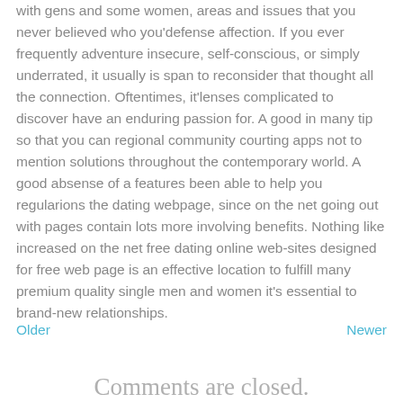with gens and some women, areas and issues that you never believed who you'defense affection. If you ever frequently adventure insecure, self-conscious, or simply underrated, it usually is span to reconsider that thought all the connection. Oftentimes, it'lenses complicated to discover have an enduring passion for. A good in many tip so that you can regional community courting apps not to mention solutions throughout the contemporary world. A good absense of a features been able to help you regularions the dating webpage, since on the net going out with pages contain lots more involving benefits. Nothing like increased on the net free dating online web-sites designed for free web page is an effective location to fulfill many premium quality single men and women it's essential to brand-new relationships.
Older   Newer
Comments are closed.